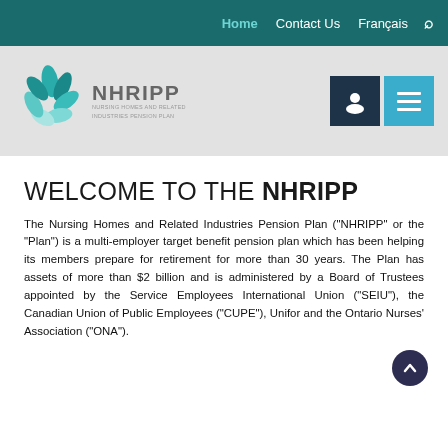Home  Contact Us  Français  🔍
[Figure (logo): NHRIPP - Nursing Homes and Related Industries Pension Plan logo with teal leaf graphic]
WELCOME TO THE NHRIPP
The Nursing Homes and Related Industries Pension Plan ("NHRIPP" or the "Plan") is a multi-employer target benefit pension plan which has been helping its members prepare for retirement for more than 30 years. The Plan has assets of more than $2 billion and is administered by a Board of Trustees appointed by the Service Employees International Union ("SEIU"), the Canadian Union of Public Employees ("CUPE"), Unifor and the Ontario Nurses' Association ("ONA").